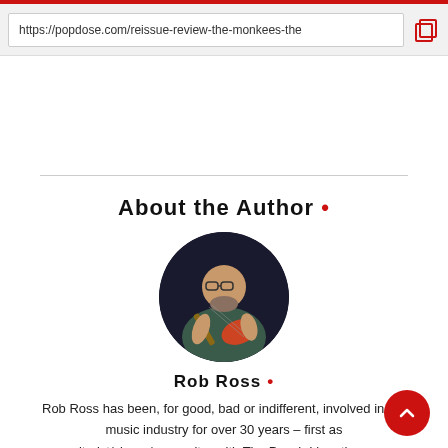https://popdose.com/reissue-review-the-monkees-the
About the Author •
[Figure (photo): Circular profile photo of Rob Ross playing guitar against a dark background]
Rob Ross •
Rob Ross has been, for good, bad or indifferent, involved in the music industry for over 30 years – first as guitarist/singer/songwriter with The Punch Line, then as freelance journalist, producer and manager to working for independent and major record labels. He resides in Staten Island, New York with his wife and cats; he works out a lot,